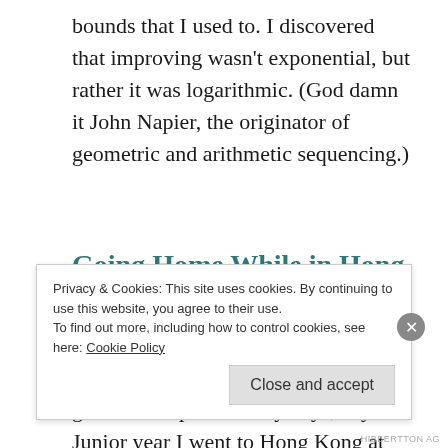bounds that I used to. I discovered that improving wasn't exponential, but rather it was logarithmic. (God damn it John Napier, the originator of geometric and arithmetic sequencing.)
Going Home While in Hong Kong
Yes, I'm talking about Hong Kong again. It was kind of a big deal in my growth as a person. Anyways, My Junior year I went to Hong Kong at
Privacy & Cookies: This site uses cookies. By continuing to use this website, you agree to their use.
To find out more, including how to control cookies, see here: Cookie Policy
Close and accept